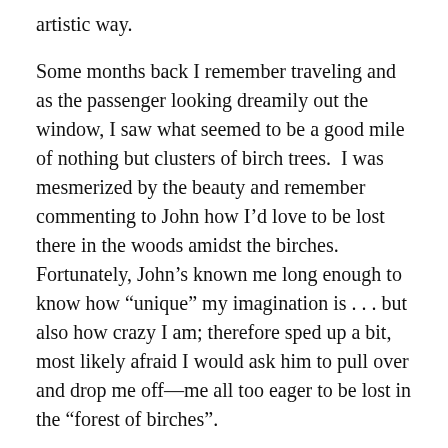artistic way.
Some months back I remember traveling and as the passenger looking dreamily out the window, I saw what seemed to be a good mile of nothing but clusters of birch trees.  I was mesmerized by the beauty and remember commenting to John how I’d love to be lost there in the woods amidst the birches.  Fortunately, John’s known me long enough to know how “unique” my imagination is . . . but also how crazy I am; therefore sped up a bit, most likely afraid I would ask him to pull over and drop me off—me all too eager to be lost in the “forest of birches”.
Surgery happened.
My surgical oncologist is a rock star and knowing a bit about my music interests and the frame of